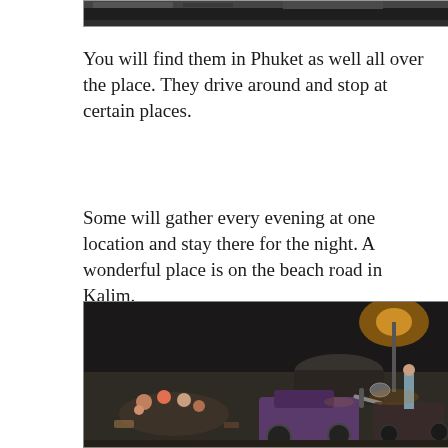[Figure (photo): Top portion of a photo, dark image partially visible at the top of the page]
You will find them in Phuket as well all over the place. They drive around and stop at certain places.
Some will gather every evening at one location and stay there for the night. A wonderful place is on the beach road in Kalim.
[Figure (photo): Night scene on a beach road in Kalim, Phuket. People sitting on the ground eating street food, motorcycles parked nearby, food vendor stalls with umbrellas lit by street lights in the background.]